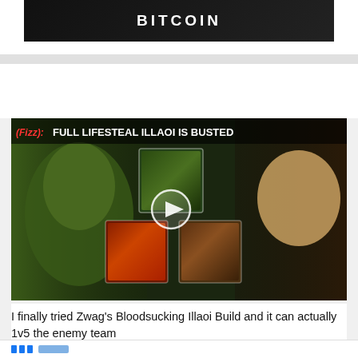[Figure (screenshot): Top portion of a website showing a dark banner with the word BITCOIN in white bold letters]
[Figure (screenshot): YouTube video thumbnail for a League of Legends video titled '(Fizz): FULL LIFESTEAL ILLAOI IS BUSTED' showing a game character Illaoi on the left, item icons in the center, and a person reacting on the right, with a play button overlay]
I finally tried Zwag's Bloodsucking Illaoi Build and it can actually 1v5 the enemy team
[Figure (screenshot): Bottom strip of a social media post with Facebook-style reaction icons partially visible]